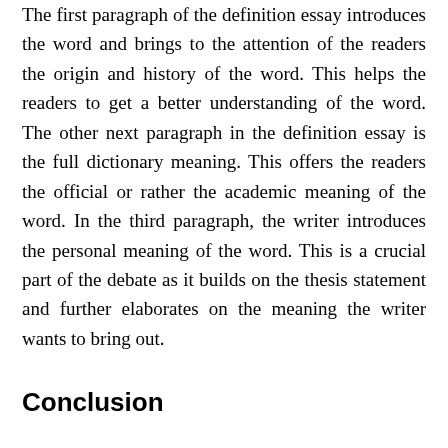The first paragraph of the definition essay introduces the word and brings to the attention of the readers the origin and history of the word. This helps the readers to get a better understanding of the word. The other next paragraph in the definition essay is the full dictionary meaning. This offers the readers the official or rather the academic meaning of the word. In the third paragraph, the writer introduces the personal meaning of the word. This is a crucial part of the debate as it builds on the thesis statement and further elaborates on the meaning the writer wants to bring out.
Conclusion